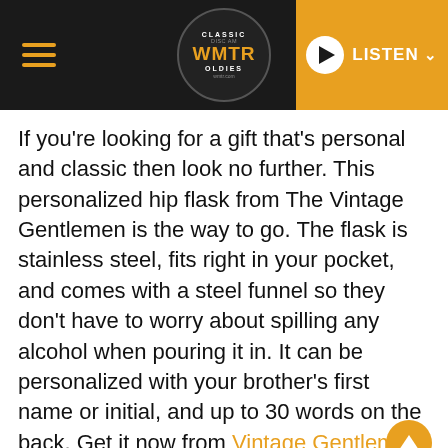CLASSIC WMTR DISC AM OLDIES — LISTEN
If you're looking for a gift that's personal and classic then look no further. This personalized hip flask from The Vintage Gentlemen is the way to go. The flask is stainless steel, fits right in your pocket, and comes with a steel funnel so they don't have to worry about spilling any alcohol when pouring it in. It can be personalized with your brother's first name or initial, and up to 30 words on the back. Get it now from Vintage Gentlemen.
Vices Subscription Box
[Figure (photo): Dark image at bottom of page, partially visible, showing objects on dark background]